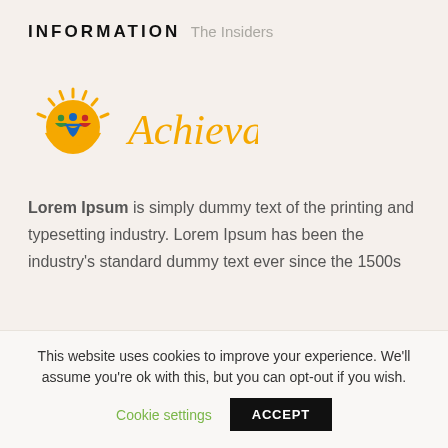INFORMATION
The Insiders
[Figure (logo): Achieva logo with colorful sun/flower icon and orange italic 'Achieva' text]
Lorem Ipsum is simply dummy text of the printing and typesetting industry. Lorem Ipsum has been the industry's standard dummy text ever since the 1500s
This website uses cookies to improve your experience. We'll assume you're ok with this, but you can opt-out if you wish.
Cookie settings
ACCEPT